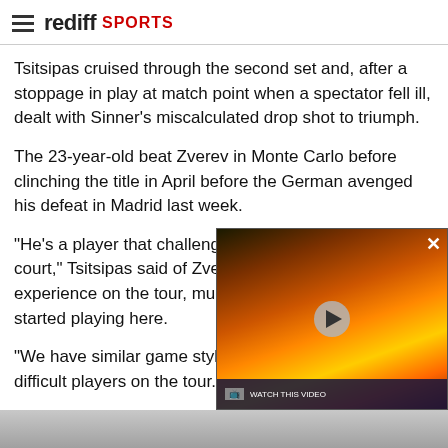rediff SPORTS
Tsitsipas cruised through the second set and, after a stoppage in play at match point when a spectator fell ill, dealt with Sinner's miscalculated drop shot to triumph.
The 23-year-old beat Zverev in Monte Carlo before clinching the title in April before the German avenged his defeat in Madrid last week.
"He's a player that challenges me when I'm out on the court," Tsitsipas said of Zverev. "He has a lot of experience on the tour, much earlier than when I started playing here.
"We have similar game styles because of the most difficult players on the tour."
Swiatek beats Andreescu in consecutive win
[Figure (screenshot): Video overlay showing fire footage with play button, close button, and bottom bar with channel logo and text]